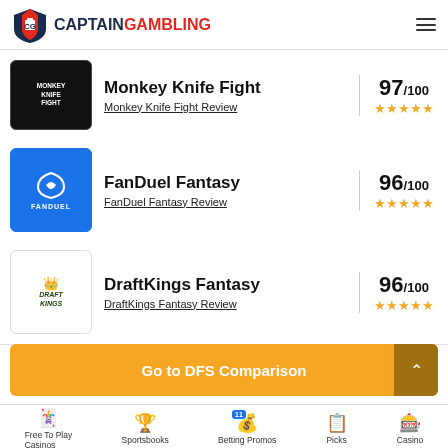Captain Gambling
Monkey Knife Fight — 97/100 ★★★★★
Monkey Knife Fight Review
FanDuel Fantasy — 96/100 ★★★★★
FanDuel Fantasy Review
DraftKings Fantasy — 96/100 ★★★★★
DraftKings Fantasy Review
Go to DFS Comparison
BetRivers.net Social Casino Promo — Daily Rewards up to 10k VC$
Free To Play Casinos | Sportsbooks | Betting Promos | Picks | Casino